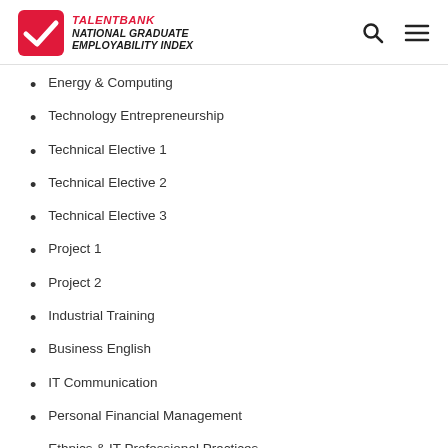TALENTBANK NATIONAL GRADUATE EMPLOYABILITY INDEX
Energy & Computing
Technology Entrepreneurship
Technical Elective 1
Technical Elective 2
Technical Elective 3
Project 1
Project 2
Industrial Training
Business English
IT Communication
Personal Financial Management
Ethnics & IT Professional Practices
Islamic/ Moral & Civil Society I/ MPU Compulsory U3